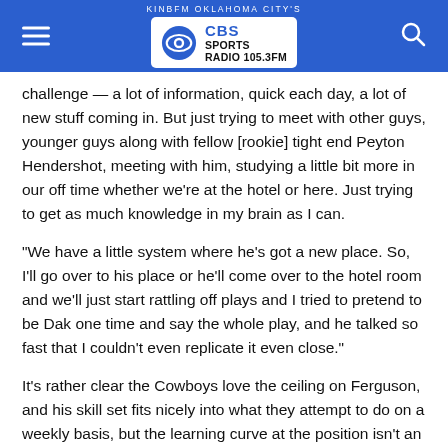KINBFM OKLAHOMA CITY'S CBS SPORTS RADIO 105.3FM
challenge — a lot of information, quick each day, a lot of new stuff coming in. But just trying to meet with other guys, younger guys along with fellow [rookie] tight end Peyton Hendershot, meeting with him, studying a little bit more in our off time whether we're at the hotel or here. Just trying to get as much knowledge in my brain as I can.
“We have a little system where he’s got a new place. So, I’ll go over to his place or he’ll come over to the hotel room and we’ll just start rattling off plays and I tried to pretend to be Dak one time and say the whole play, and he talked so fast that I couldn’t even replicate it even close.”
It’s rather clear the Cowboys love the ceiling on Ferguson, and his skill set fits nicely into what they attempt to do on a weekly basis, but the learning curve at the position isn’t an easy one, and the former Wisconsin standout is approaching